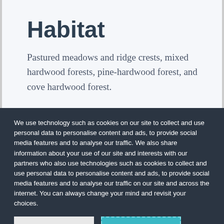Habitat
Pastured meadows and ridge crests, mixed hardwood forests, pine-hardwood forest, and cove hardwood forest.
We use technology such as cookies on our site to collect and use personal data to personalise content and ads, to provide social media features and to analyse our traffic. We also share information about your use of our site and interests with our partners who also use technologies such as cookies to collect and use personal data to personalise content and ads, to provide social media features and to analyse our traffic on our site and across the internet. You can always change your mind and revisit your choices.
Manage Options | I Accept